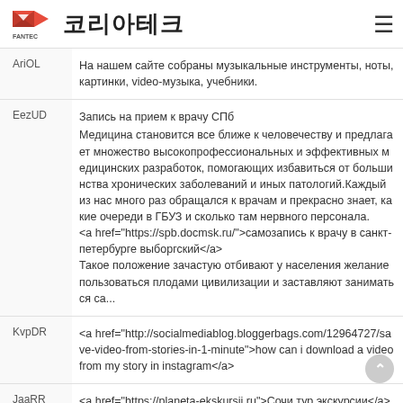FANTEC 코리아테크
AriOL | На нашем сайте собраны музыкальные инструменты, ноты, картинки, video-музыка, учебники.
EezUD | Запись на прием к врачу СПб
Медицина становится все ближе к человечеству и предлагает множество высокопрофессиональных и эффективных медицинских разработок, помогающих избавиться от большинства хронических заболеваний и иных патологий.Каждый из нас много раз обращался к врачам и прекрасно знает, какие очереди в ГБУЗ и сколько там нервного персонала.
<a href="https://spb.docmsk.ru/">самозапись к врачу в санкт-петербурге выборгский</a>
Такое положение зачастую отбивают у населения желание пользоваться плодами цивилизации и заставляют заниматься са...
KvpDR | <a href="http://socialmediablog.bloggerbags.com/12964727/save-video-from-stories-in-1-minute">how can i download a video from my story in instagram</a>
JaaRR | <a href="https://planeta-ekskursij.ru">Сочи тур экскурсии</a>